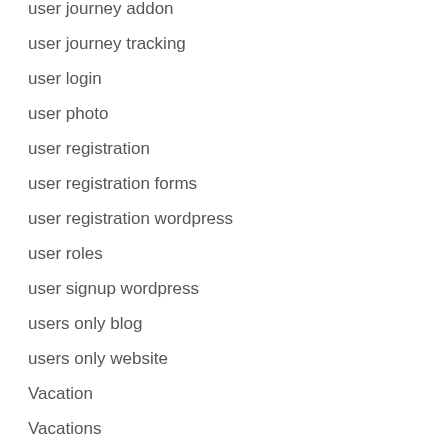user journey addon
user journey tracking
user login
user photo
user registration
user registration forms
user registration wordpress
user roles
user signup wordpress
users only blog
users only website
Vacation
Vacations